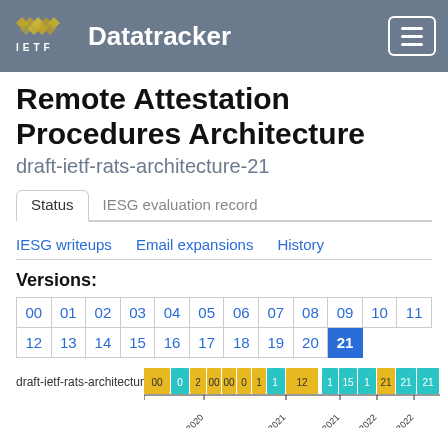IETF Datatracker
Remote Attestation Procedures Architecture
draft-ietf-rats-architecture-21
Status | IESG evaluation record
IESG writeups  Email expansions  History
Versions:
| 00 | 01 | 02 | 03 | 04 | 05 | 06 | 07 | 08 | 09 | 10 | 11 |
| 12 | 13 | 14 | 15 | 16 | 17 | 18 | 19 | 20 | 21 (active) |  |  |
[Figure (bar-chart): Horizontal timeline bar chart showing versions 00-21 of draft-ietf-rats-architecture from 2019 to 2022, with colored segments (yellow/gold and cyan/teal) indicating version ranges over time.]